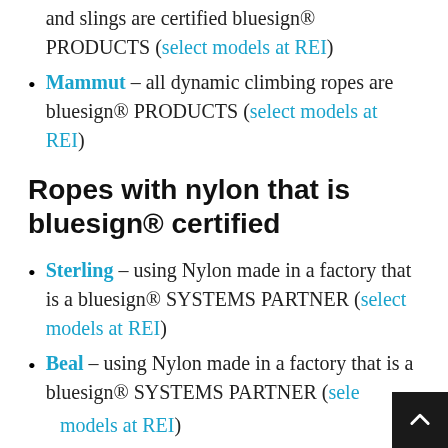and slings are certified bluesign® PRODUCTS (select models at REI)
Mammut – all dynamic climbing ropes are bluesign® PRODUCTS (select models at REI)
Ropes with nylon that is bluesign® certified
Sterling – using Nylon made in a factory that is a bluesign® SYSTEMS PARTNER (select models at REI)
Beal – using Nylon made in a factory that is a bluesign® SYSTEMS PARTNER (select models at REI)